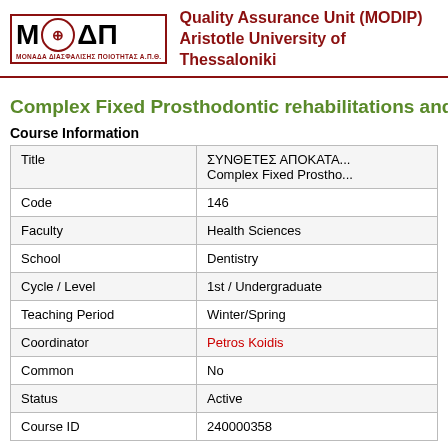[Figure (logo): MODIP logo with Greek letters M, circular emblem, Delta, Pi and subtitle ΜΟΝΑΔΑ ΔΙΑΣΦΑΛΙΣΗΣ ΠΟΙΟΤΗΤΑΣ Α.Π.Θ.]
Quality Assurance Unit (MODIP)
Aristotle University of Thessaloniki
Complex Fixed Prosthodontic rehabilitations and implant P
Course Information
| Title | ΣΥΝΘΕΤΕΣ ΑΠΟΚΑΤΑ...
Complex Fixed Prostho... |
| Code | 146 |
| Faculty | Health Sciences |
| School | Dentistry |
| Cycle / Level | 1st / Undergraduate |
| Teaching Period | Winter/Spring |
| Coordinator | Petros Koidis |
| Common | No |
| Status | Active |
| Course ID | 240000358 |